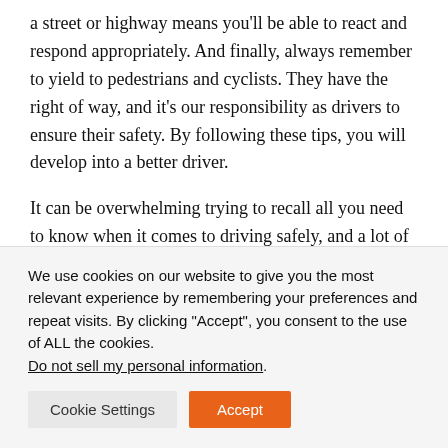a street or highway means you'll be able to react and respond appropriately. And finally, always remember to yield to pedestrians and cyclists. They have the right of way, and it's our responsibility as drivers to ensure their safety. By following these tips, you will develop into a better driver.
It can be overwhelming trying to recall all you need to know when it comes to driving safely, and a lot of it has to do with communication and monitoring road conditions. If you want to be a safe Connecticut driver, this quiz is an
We use cookies on our website to give you the most relevant experience by remembering your preferences and repeat visits. By clicking "Accept", you consent to the use of ALL the cookies. Do not sell my personal information.